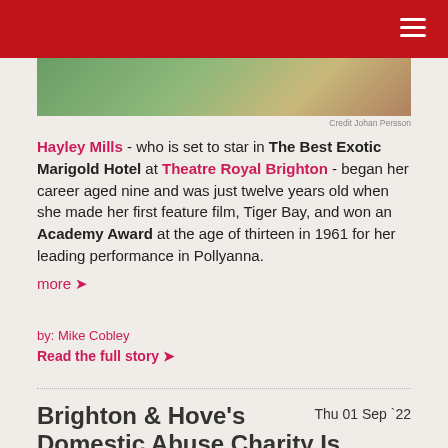[Figure (photo): Partial photo strip showing a person, likely Hayley Mills, against a colorful background]
Credit Johan Persson
Hayley Mills - who is set to star in The Best Exotic Marigold Hotel at Theatre Royal Brighton - began her career aged nine and was just twelve years old when she made her first feature film, Tiger Bay, and won an Academy Award at the age of thirteen in 1961 for her leading performance in Pollyanna.
more ❯
by: Mike Cobley
Read the full story ❯
Brighton & Hove's Domestic Abuse Charity Is Holding Undercliff Run For
Thu 01 Sep `22